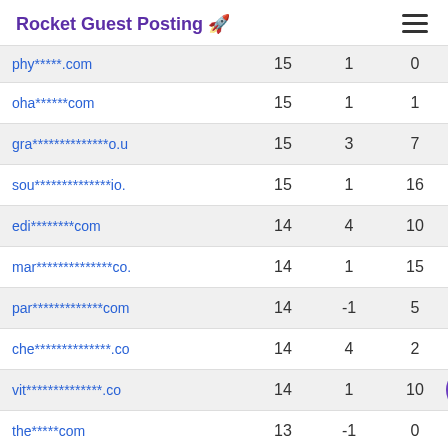Rocket Guest Posting 🚀
| Domain |  |  |  |
| --- | --- | --- | --- |
| phy*****.com | 15 | 1 | 0 |
| oha******.com | 15 | 1 | 1 |
| gra**************.o.u | 15 | 3 | 7 |
| sou**************.io. | 15 | 1 | 16 |
| edi********.com | 14 | 4 | 10 |
| mar**************.co. | 14 | 1 | 15 |
| par**************.com | 14 | -1 | 5 |
| che**************.co | 14 | 4 | 2 |
| vit**************.co | 14 | 1 | 10 |
| the*****.com | 13 | -1 | 0 |